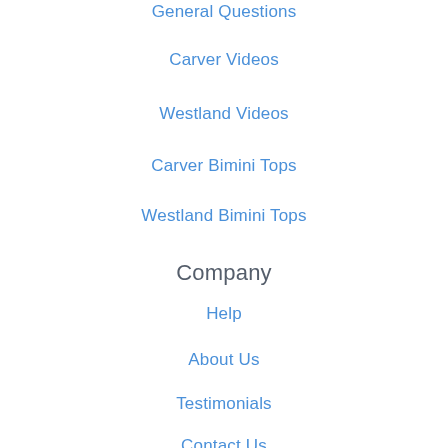General Questions
Carver Videos
Westland Videos
Carver Bimini Tops
Westland Bimini Tops
Company
Help
About Us
Testimonials
Contact Us